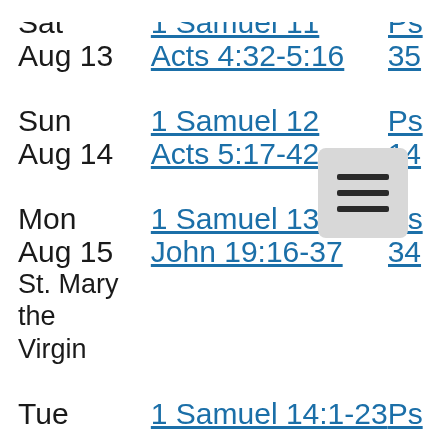| Day | Reading | Psalm |
| --- | --- | --- |
| Sat
Aug 13 | 1 Samuel 11
Acts 4:32-5:16 | Ps…
35… |
| Sun
Aug 14 | 1 Samuel 12
Acts 5:17-42 | Ps…
14… |
| Mon
Aug 15
St. Mary the Virgin | 1 Samuel 13
John 19:16-37 | Ps…
34… |
| Tue | 1 Samuel 14:1-23 | Ps… |